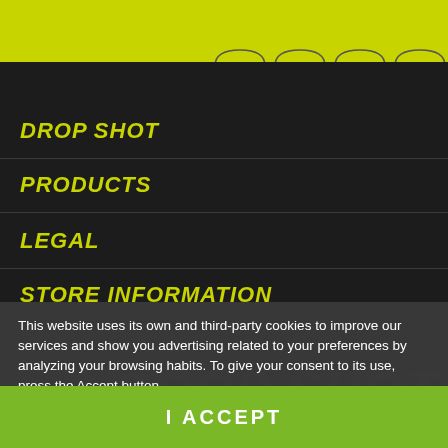DROP SHOT
PRODUCTS
LEGAL
STORE INFORMATION
This website uses its own and third-party cookies to improve our services and show you advertising related to your preferences by analyzing your browsing habits. To give your consent to its use, press the Accept button.
More information   Customize cookies
I ACCEPT